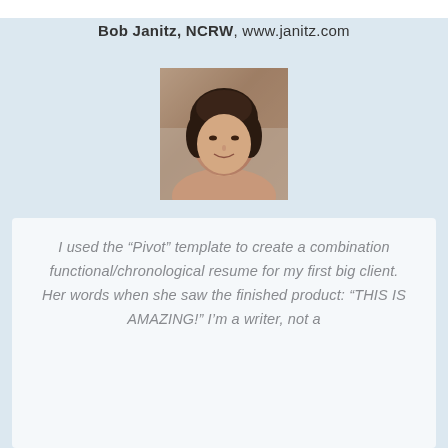Bob Janitz, NCRW, www.janitz.com
[Figure (photo): Portrait photo of a woman with dark curly hair, smiling, against a neutral background.]
I used the “Pivot” template to create a combination functional/chronological resume for my first big client. Her words when she saw the finished product: “THIS IS AMAZING!” I’m a writer, not a